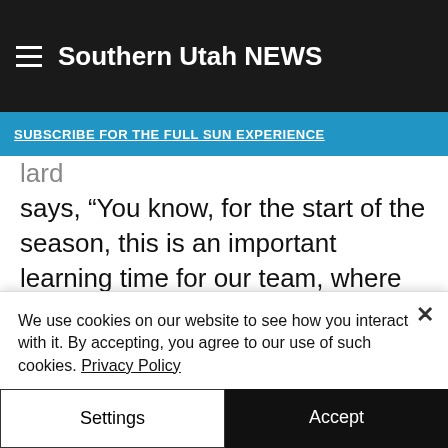Southern Utah NEWS
SUBSCRIBE FOR THE FULL SUN EXPERIENCE
lard says, “You know, for the start of the season, this is an important learning time for our team, where we’re trying to figure out our roles … our team identity. Where we’re going in a defensive direction or an offensive direction.
“So, I think, we were actually able to
We use cookies on our website to see how you interact with it. By accepting, you agree to our use of such cookies. Privacy Policy
Settings
Accept